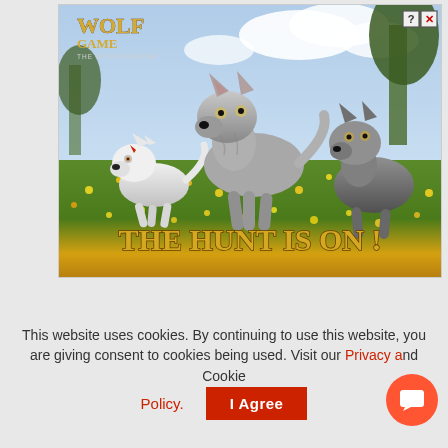[Figure (illustration): Advertisement for Wolf Game: The Wild Kingdom mobile game. Shows three wolf characters (white wolf with red mark, large grey wolf in center, dark wolf on right) running through a sunny meadow with yellow flowers. Text reads 'THE HUNT IS ON!' in gold letters. Wolf Game logo in top left. Help and close buttons in top right.]
This website uses cookies. By continuing to use this website, you are giving consent to cookies being used. Visit our Privacy and Cookie Policy.
Policy.
I Agree